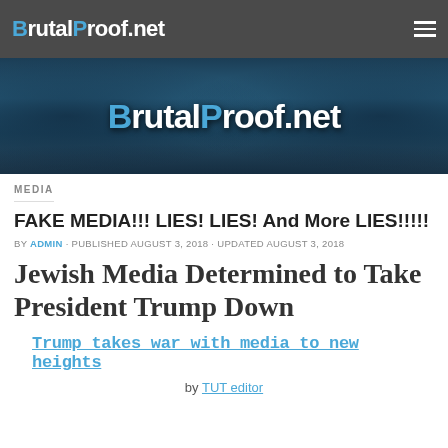BrutalProof.net
[Figure (photo): Mountain landscape banner with BrutalProof.net logo overlay in blue and white text]
MEDIA
FAKE MEDIA!!! LIES! LIES! And More LIES!!!!!
BY ADMIN · PUBLISHED AUGUST 3, 2018 · UPDATED AUGUST 3, 2018
Jewish Media Determined to Take President Trump Down
Trump takes war with media to new heights
by TUT editor